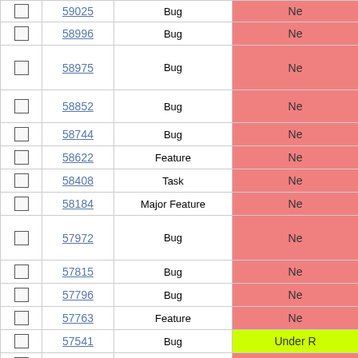|  | ID | Type | Status |
| --- | --- | --- | --- |
| □ | 59025 | Bug | Ne… |
| □ | 58996 | Bug | Ne… |
| □ | 58975 | Bug | Ne… |
| □ | 58852 | Bug | Ne… |
| □ | 58744 | Bug | Ne… |
| □ | 58622 | Feature | Ne… |
| □ | 58408 | Task | Ne… |
| □ | 58184 | Major Feature | Ne… |
| □ | 57972 | Bug | Ne… |
| □ | 57815 | Bug | Ne… |
| □ | 57796 | Bug | Ne… |
| □ | 57763 | Feature | Ne… |
| □ | 57541 | Bug | Under R… |
| □ | 57450 | Bug | Ne… |
| □ | 57437 | Bug | Ne… |
| □ | 56916 | Feature | Ne… |